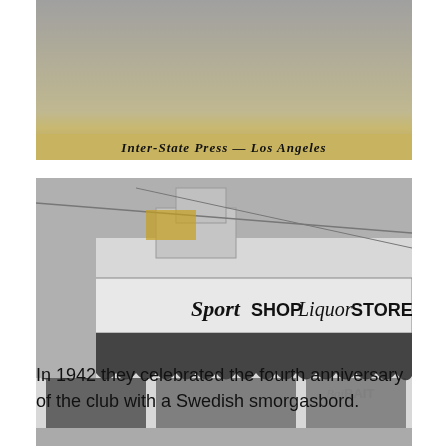[Figure (photo): Close-up photo of a matchbook cover showing printed text 'Inter-State Press — Los Angeles' on a tan/gold band at the bottom, with a dark worn top portion.]
[Figure (photo): Black and white photograph of a storefront building with signage reading 'Sport SHOP Liquor STORE' and 'BAIT', with a scalloped awning across the front windows.]
In 1942 they celebrated the fourth anniversary of the club with a Swedish smorgasbord.